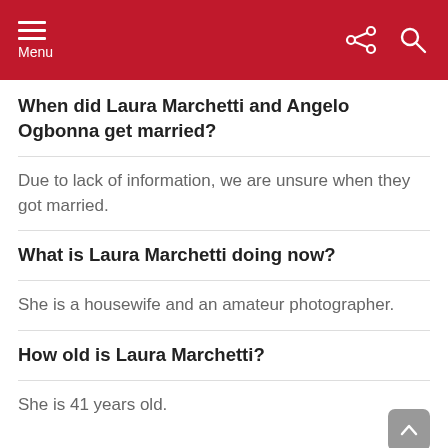Menu
When did Laura Marchetti and Angelo Ogbonna get married?
Due to lack of information, we are unsure when they got married.
What is Laura Marchetti doing now?
She is a housewife and an amateur photographer.
How old is Laura Marchetti?
She is 41 years old.
Nationality of Laura Marchetti?